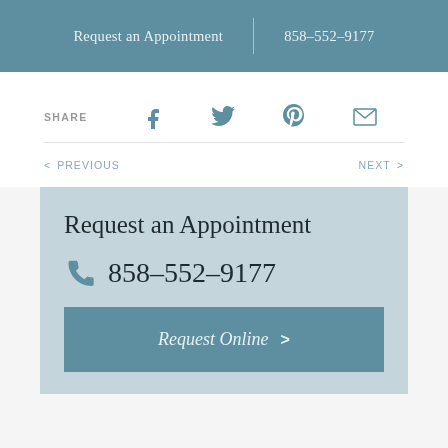Request an Appointment | 858-552-9177
SHARE
Facebook Twitter Pinterest Email
< PREVIOUS   NEXT >
Request an Appointment
858-552-9177
Request Online >